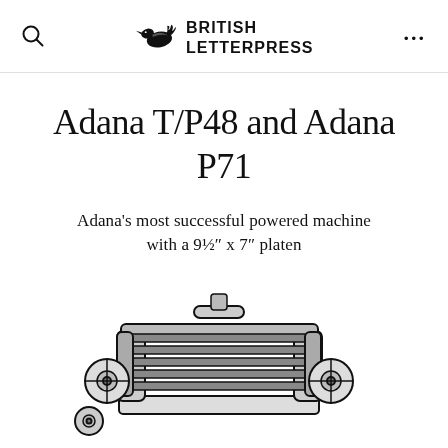BRITISH LETTERPRESS
Adana T/P48 and Adana P71
Adana's most successful powered machine with a 9½″ x 7″ platen
[Figure (illustration): Line drawing illustration of an Adana letterpress printing machine, showing the mechanical components including rollers and platen, viewed from the side/front at an angle.]